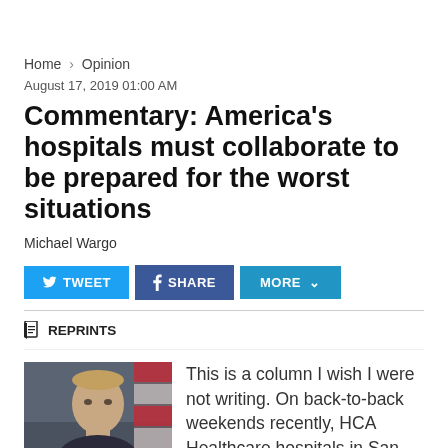Home › Opinion
August 17, 2019 01:00 AM
Commentary: America's hospitals must collaborate to be prepared for the worst situations
Michael Wargo
TWEET   SHARE   MORE
REPRINTS
[Figure (photo): Headshot of Michael Wargo, a man in a dark suit, with an American flag visible in the background.]
This is a column I wish I were not writing. On back-to-back weekends recently, HCA Healthcare hospitals in San Jose